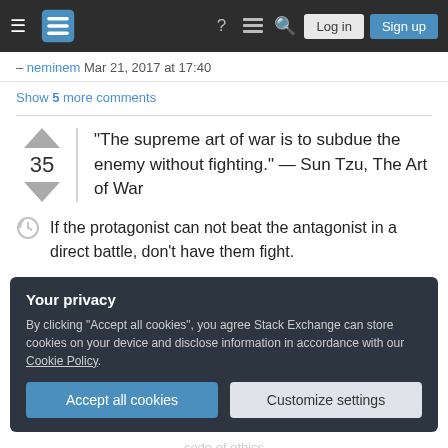Stack Exchange navigation bar with hamburger menu, logo, help, comments, search icons, Log in and Sign up buttons
– neminem Mar 21, 2017 at 17:40
Show 5 more comments
“The supreme art of war is to subdue the enemy without fighting.” — Sun Tzu, The Art of War
35
If the protagonist can not beat the antagonist in a direct battle, don’t have them fight.
Your privacy
By clicking “Accept all cookies”, you agree Stack Exchange can store cookies on your device and disclose information in accordance with our Cookie Policy.
Accept all cookies
Customize settings